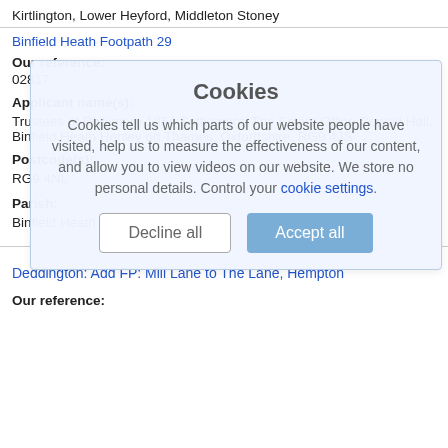Kirtlington, Lower Heyford, Middleton Stoney
Binfield Heath Footpath 29
Our reference:
02817
Applicant name(s):
Trustees of Phillimore 1964 Settlement, The Estate Office Coppid Hall, Binfield Heath Henley on Thames, Oxfordshire, RG9 4JS
Postcode(s):
RG9 4NL
Parish:
Binfield Heath
Deddington: Add FP: Mill Lane to The Lane, Hempton
Our reference: